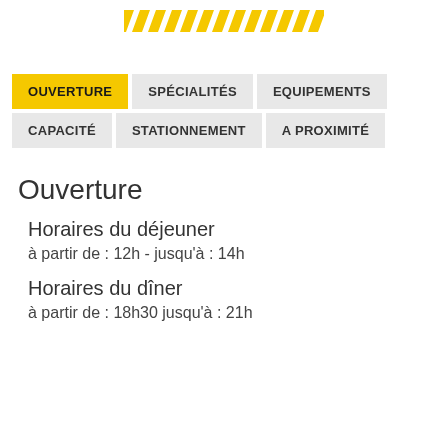[Figure (illustration): Yellow diagonal stripe pattern / hazard lines decoration]
OUVERTURE | SPÉCIALITÉS | EQUIPEMENTS | CAPACITÉ | STATIONNEMENT | A PROXIMITÉ
Ouverture
Horaires du déjeuner
à partir de : 12h - jusqu'à : 14h
Horaires du dîner
à partir de : 18h30 jusqu'à : 21h